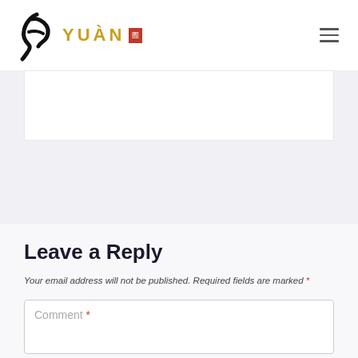YUÀN [seal]
[Figure (logo): Yuan restaurant logo with black brushstroke calligraphy mark, gold text YUÀN and red Chinese seal stamp]
Leave a Reply
Your email address will not be published. Required fields are marked *
Comment *